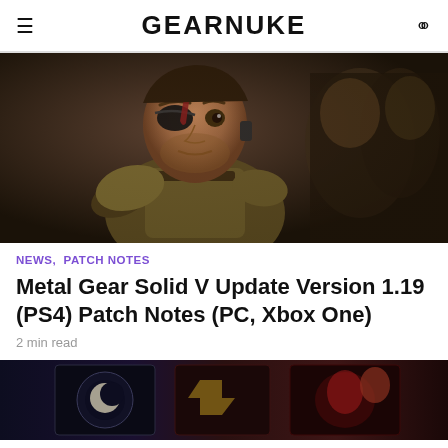GEARNUKE
[Figure (photo): Metal Gear Solid V character wearing tactical gear and an eye patch, with blood on face, set in a military environment]
NEWS, PATCH NOTES
Metal Gear Solid V Update Version 1.19 (PS4) Patch Notes (PC, Xbox One)
2 min read
[Figure (photo): Banner image showing dark fantasy game artwork with multiple character portraits]